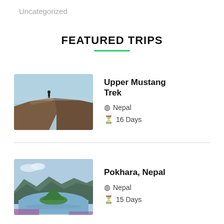Uncategorized
FEATURED TRIPS
Upper Mustang Trek
Nepal
16 Days
Pokhara, Nepal
Nepal
15 Days